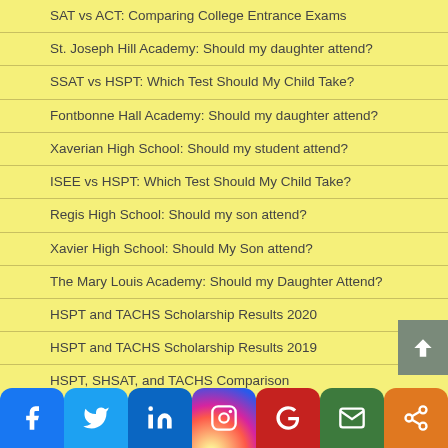SAT vs ACT: Comparing College Entrance Exams
St. Joseph Hill Academy: Should my daughter attend?
SSAT vs HSPT: Which Test Should My Child Take?
Fontbonne Hall Academy: Should my daughter attend?
Xaverian High School: Should my student attend?
ISEE vs HSPT: Which Test Should My Child Take?
Regis High School: Should my son attend?
Xavier High School: Should My Son attend?
The Mary Louis Academy: Should my Daughter Attend?
HSPT and TACHS Scholarship Results 2020
HSPT and TACHS Scholarship Results 2019
HSPT, SHSAT, and TACHS Comparison
Summer TACHS Course on Staten Island at St. Joseph St. Thomas School